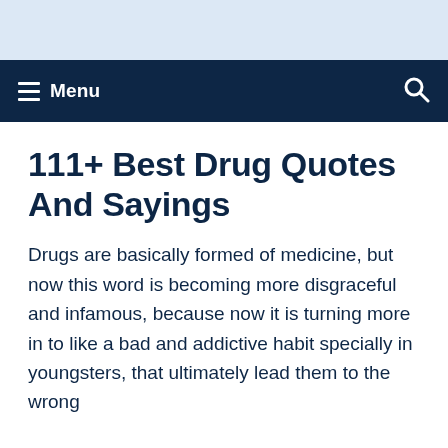Menu
111+ Best Drug Quotes And Sayings
Drugs are basically formed of medicine, but now this word is becoming more disgraceful and infamous, because now it is turning more in to like a bad and addictive habit specially in youngsters, that ultimately lead them to the wrong